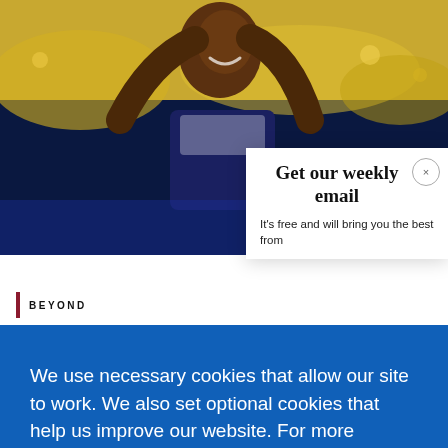[Figure (photo): Background photo of an athlete celebrating with arms raised, crowd visible in background. Blue and yellow tones.]
Get our weekly email
It's free and will bring you the best from
BEYOND
We use necessary cookies that allow our site to work. We also set optional cookies that help us improve our website. For more information about the types of cookies we use. READ OUR COOKIES POLICY HERE
COOKIE SETTINGS
ALLOW ALL COOKIES
data.